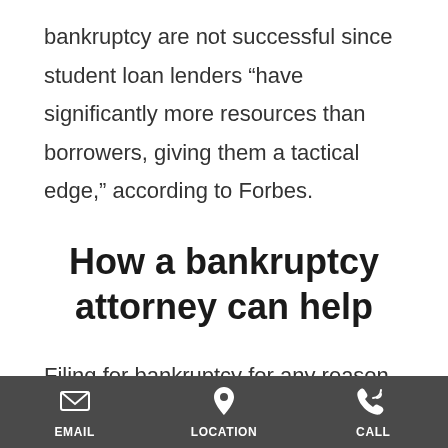bankruptcy are not successful since student loan lenders “have significantly more resources than borrowers, giving them a tactical edge,” according to Forbes.
How a bankruptcy attorney can help
Filing for bankruptcy for any reason can be a complicated, confusing legal process. If you make a mistake at any point when submitting paperwork
EMAIL   LOCATION   CALL